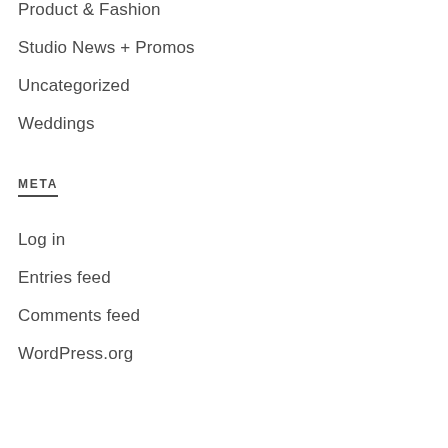Product & Fashion
Studio News + Promos
Uncategorized
Weddings
META
Log in
Entries feed
Comments feed
WordPress.org